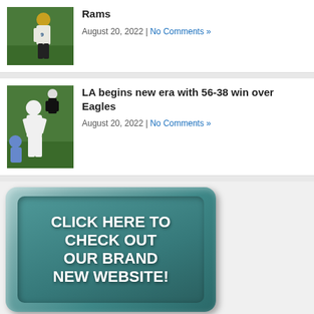[Figure (photo): Football player in yellow and green uniform number 9 on field]
Rams
August 20, 2022 | No Comments »
[Figure (photo): Football player in white uniform running with ball being tackled]
LA begins new era with 56-38 win over Eagles
August 20, 2022 | No Comments »
[Figure (illustration): Teal button graphic with text CLICK HERE TO CHECK OUT OUR BRAND NEW WEBSITE!]